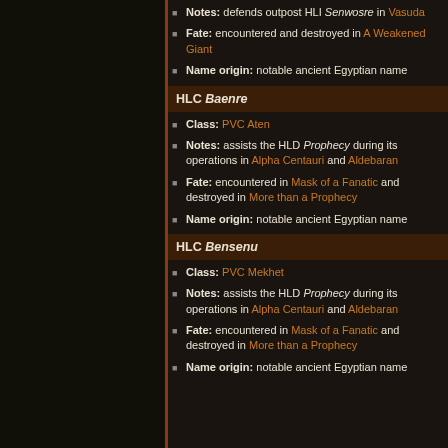Notes: defends outpost HLI Senwosre in Vasuda
Fate: encountered and destroyed in A Weakened Giant
Name origin: notable ancient Egyptian name
HLC Baenre
Class: PVC Aten
Notes: assists the HLD Prophecy during its operations in Alpha Centauri and Aldebaran
Fate: encountered in Mask of a Fanatic and destroyed in More than a Prophecy
Name origin: notable ancient Egyptian name
HLC Bensenu
Class: PVC Mekhet
Notes: assists the HLD Prophecy during its operations in Alpha Centauri and Aldebaran
Fate: encountered in Mask of a Fanatic and destroyed in More than a Prophecy
Name origin: notable ancient Egyptian name